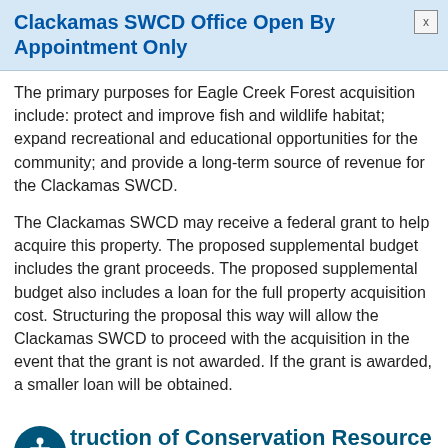Clackamas SWCD Office Open By Appointment Only
The primary purposes for Eagle Creek Forest acquisition include: protect and improve fish and wildlife habitat; expand recreational and educational opportunities for the community; and provide a long-term source of revenue for the Clackamas SWCD.
The Clackamas SWCD may receive a federal grant to help acquire this property. The proposed supplemental budget includes the grant proceeds. The proposed supplemental budget also includes a loan for the full property acquisition cost. Structuring the proposal this way will allow the Clackamas SWCD to proceed with the acquisition in the event that the grant is not awarded. If the grant is awarded, a smaller loan will be obtained.
struction of Conservation Resource Center